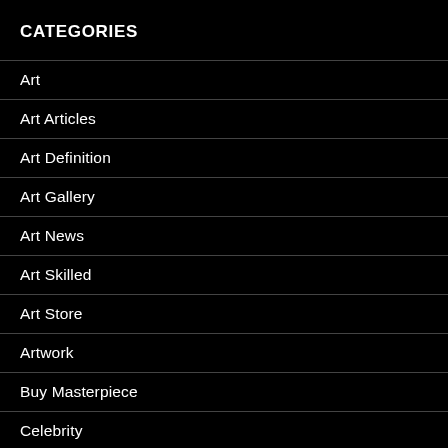CATEGORIES
Art
Art Articles
Art Definition
Art Gallery
Art News
Art Skilled
Art Store
Artwork
Buy Masterpiece
Celebrity